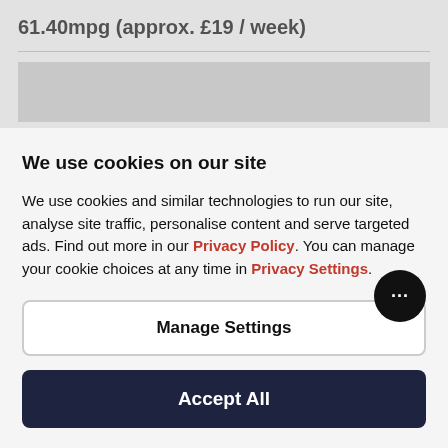61.40mpg (approx. £19 / week)
Not all running costs are shown above. The running
We use cookies on our site
We use cookies and similar technologies to run our site, analyse site traffic, personalise content and serve targeted ads. Find out more in our Privacy Policy. You can manage your cookie choices at any time in Privacy Settings.
Manage Settings
Accept All